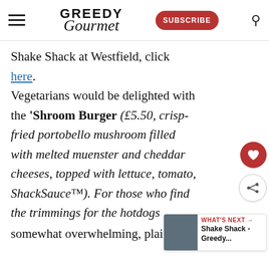Greedy Gourmet — Subscribe
Shake Shack at Westfield, click here. Vegetarians would be delighted with the 'Shroom Burger (£5.50, crisp-fried portobello mushroom filled with melted muenster and cheddar cheeses, topped with lettuce, tomato, ShackSauce™). For those who find the trimmings for the hotdogs somewhat overwhelming, plainer